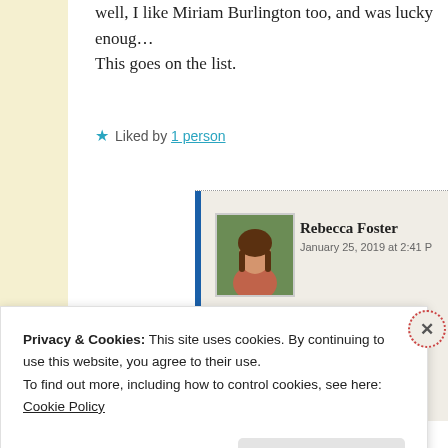Well, I like Miriam Burlington too, and was lucky enoug… This goes on the list.
★ Liked by 1 person
Rebecca Foster  January 25, 2019 at 2:41 P
I get the feeling her poetry book is something e…
★ Liked by 1 person
Privacy & Cookies: This site uses cookies. By continuing to use this website, you agree to their use.
To find out more, including how to control cookies, see here: Cookie Policy
Close and accept